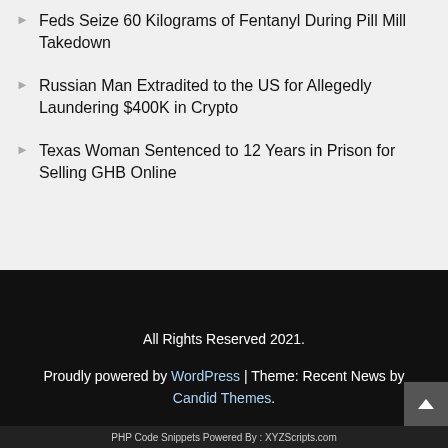Feds Seize 60 Kilograms of Fentanyl During Pill Mill Takedown
Russian Man Extradited to the US for Allegedly Laundering $400K in Crypto
Texas Woman Sentenced to 12 Years in Prison for Selling GHB Online
All Rights Reserved 2021. Proudly powered by WordPress | Theme: Recent News by Candid Themes. PHP Code Snippets Powered By : XYZScripts.com